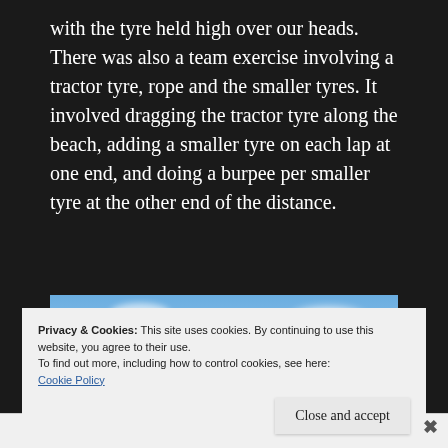with the tyre held high over our heads. There was also a team exercise involving a tractor tyre, rope and the smaller tyres. It involved dragging the tractor tyre along the beach, adding a smaller tyre on each lap at one end, and doing a burpee per smaller tyre at the other end of the distance.
[Figure (photo): A blue sky with white clouds and distant hills or mountains visible near the horizon, appearing to be a beach or coastal scene.]
Privacy & Cookies: This site uses cookies. By continuing to use this website, you agree to their use.
To find out more, including how to control cookies, see here:
Cookie Policy